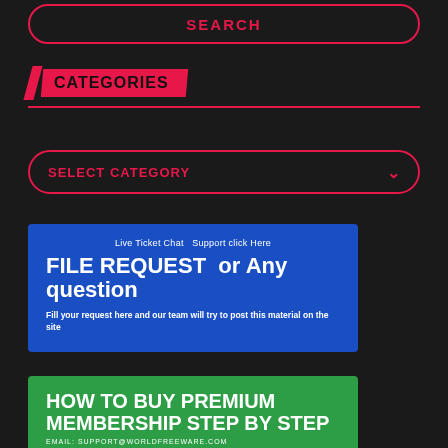SEARCH
CATEGORIES
SELECT CATEGORY
[Figure (infographic): Blue banner box with text: Live Ticket Chat Support click Here, FILE REQUEST or Any question, Fill your request here and our team will try to post this material on the site]
[Figure (infographic): Green banner box with text: HOW TO BUY PREMIUM MEMBERSHIP STEP BY STEP, EMAIL: SUPPORT@WORLDFREEWARE.COM]